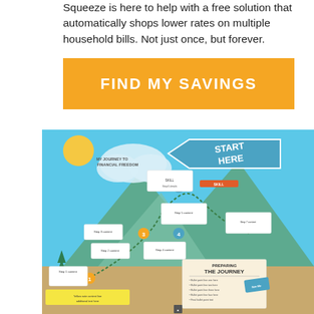Squeeze is here to help with a free solution that automatically shops lower rates on multiple household bills. Not just once, but forever.
[Figure (other): Orange button with white text 'FIND MY SAVINGS']
[Figure (infographic): Illustrated infographic showing 'My Journey to Financial Freedom' — a mountain trail map with numbered steps (1-8) and a blue arrow 'START HERE' button. Includes a legend panel labeled 'Preparing the Journey' with bullet text.]